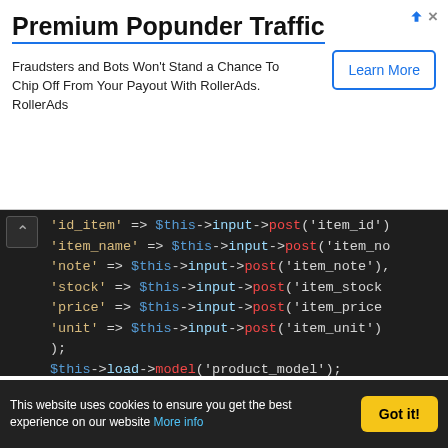[Figure (screenshot): Ad banner for RollerAds Premium Popunder Traffic with Learn More button]
Premium Popunder Traffic
Fraudsters and Bots Won't Stand a Chance To Chip Off From Your Payout With RollerAds. RollerAds
[Figure (screenshot): Code editor screenshot showing PHP code with array assignments using $this->input->post() calls, $this->load->model('product_model'), $this->product_model->save($array_item), and redirect('product')]
This website uses cookies to ensure you get the best experience on our website More info